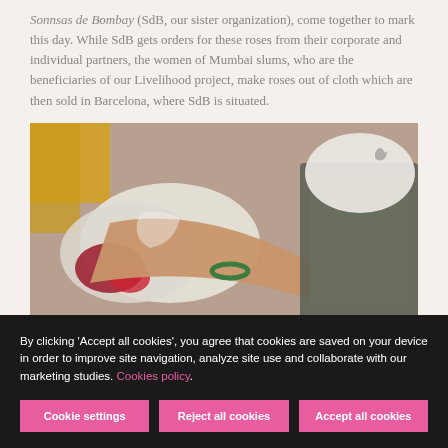Sonnsas de Bombay (SdB, our sister organization), come together to mark this day. While SdB gets orders for these roses from their corporate and individual partners, the women of Mumbai slums, who are the beneficiaries of our Livelihood project, make roses out of cloth which are then sold in Barcelona, where SdB is situated.
[Figure (photo): Close-up photo of a person's arm and hand holding or sorting cloth items, with plastic bags and colorful fabric visible in the background.]
By clicking 'Accept all cookies', you agree that cookies are saved on your device in order to improve site navigation, analyze site use and collaborate with our marketing studies. Cookies policy.
Cookie settings | Reject all cookies | Accept all cookies